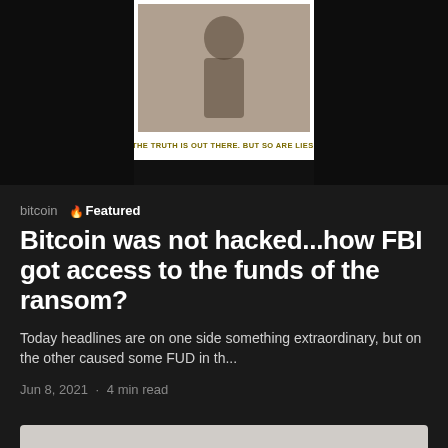[Figure (photo): Top image area showing a poster on a dark background. The poster has a figure/person on it and text reading 'THE TRUTH IS OUT THERE. BUT SO ARE LIES.' There is a yellow element visible on the right side.]
bitcoin  🔥 Featured
Bitcoin was not hacked...how FBI got access to the funds of the ransom?
Today headlines are on one side something extraordinary, but on the other caused some FUD in th...
Jun 8, 2021 · 4 min read
[Figure (photo): Bottom partial image showing a light gray/beige surface, appears to be the top portion of an article's featured image.]